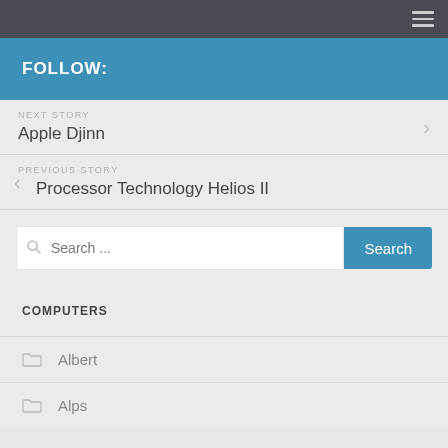Navigation bar with hamburger menu
FOLLOW:
NEXT STORY
Apple Djinn
PREVIOUS STORY
Processor Technology Helios II
Search ...
COMPUTERS
Albert
Alps